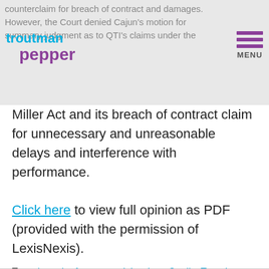counterclaim for breach of contract and damages. However, the Court denied Cajun's motion for summary judgment as to QTI's claims under the
Miller Act and its breach of contract claim for unnecessary and unreasonable delays and interference with performance. Click here to view full opinion as PDF (provided with the permission of LexisNexis).
Tags: breach of contract, delay, Inc., Quality Trust Inc. v. Cajun Contractors, Subcontract, termination
[Figure (other): Social sharing icons: print, email, Twitter, Facebook, LinkedIn]